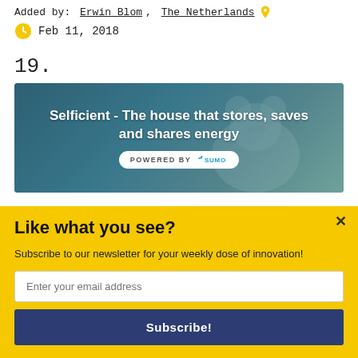Added by: Erwin Blom, The Netherlands
Feb 11, 2018
19.
[Figure (screenshot): Card image with dark teal background and polar bear silhouette, white bold text reading 'Selficient - The house that stores, saves and shares energy', with a white 'POWERED BY SUMO' badge below.]
Like what you see?
Subscribe to our newsletter for your weekly dose of innovation!
Enter your email address
Subscribe!